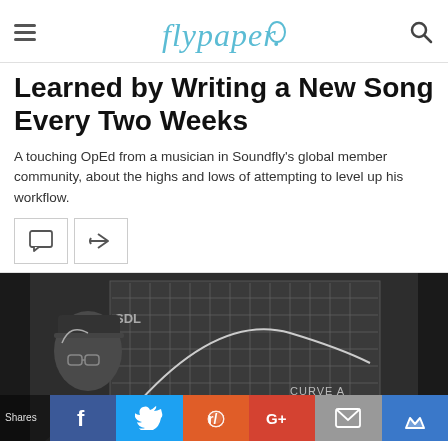Flypaper
Learned by Writing a New Song Every Two Weeks
A touching OpEd from a musician in Soundfly's global member community, about the highs and lows of attempting to level up his workflow.
[Figure (photo): Black and white photo of a young man with glasses standing in front of a chalkboard with a grid drawn on it, with 'CURVE A' and other text visible on the board. Social sharing bar at the bottom with Facebook, Twitter, Reddit, Google+, Email, and Bookmark buttons.]